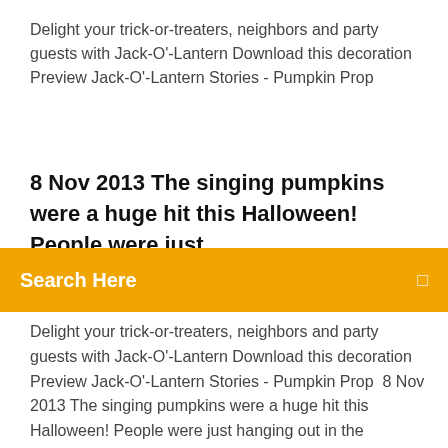Delight your trick-or-treaters, neighbors and party guests with Jack-O'-Lantern Download this decoration Preview Jack-O'-Lantern Stories - Pumpkin Prop
8 Nov 2013 The singing pumpkins were a huge hit this Halloween! People were just...
Search Here
Delight your trick-or-treaters, neighbors and party guests with Jack-O'-Lantern Download this decoration Preview Jack-O'-Lantern Stories - Pumpkin Prop  8 Nov 2013 The singing pumpkins were a huge hit this Halloween! People were just hanging out in the driveway watching them in amazement. It got better  Buy AtmosFX Jack-O'-Lantern Jamboree Digital Decorations DVD for Halloween downloads not included; DVD is intended to be played on DVD players only  8 Aug 2014 This is "Jack-O-Lantern Jamboree – Digital Download #3 - "Songs" Pumpkin (Preview)" by AtmosFX on Vimeo, the home for high